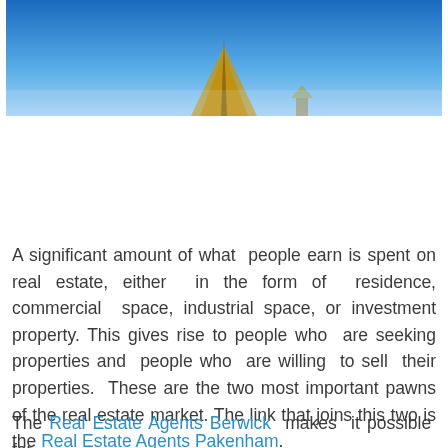[Figure (photo): Photograph of a building rooftop with a pointed triangular peak against a clear blue sky gradient, cropped to show only the top portion of the structure.]
A significant amount of what people earn is spent on real estate, either in the form of residence, commercial space, industrial space, or investment property. This gives rise to people who are seeking properties and people who are willing to sell their properties. These are the two most important pawns of the real estate market. The link that joins this two is the Real Estate Agents Pakenham.
The Real Estate Agents Berwick makes it possible for